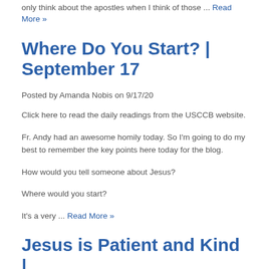only think about the apostles when I think of those ... Read More »
Where Do You Start? | September 17
Posted by Amanda Nobis on 9/17/20
Click here to read the daily readings from the USCCB website.
Fr. Andy had an awesome homily today. So I'm going to do my best to remember the key points here today for the blog.
How would you tell someone about Jesus?
Where would you start?
It's a very ... Read More »
Jesus is Patient and Kind | September 13